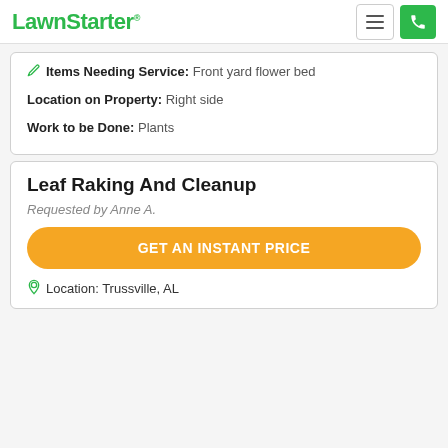LawnStarter
Items Needing Service: Front yard flower bed
Location on Property: Right side
Work to be Done: Plants
Leaf Raking And Cleanup
Requested by Anne A.
GET AN INSTANT PRICE
Location: Trussville, AL